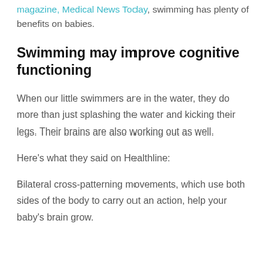magazine, Medical News Today, swimming has plenty of benefits on babies.
Swimming may improve cognitive functioning
When our little swimmers are in the water, they do more than just splashing the water and kicking their legs. Their brains are also working out as well.
Here's what they said on Healthline:
Bilateral cross-patterning movements, which use both sides of the body to carry out an action, help your baby's brain grow.